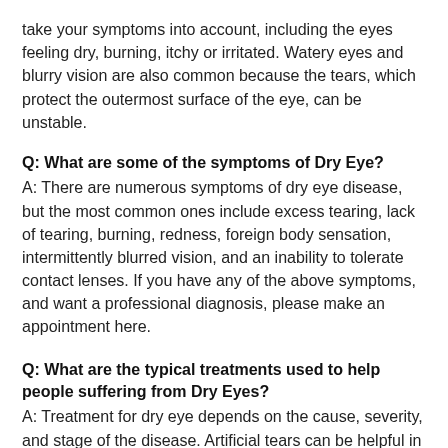take your symptoms into account, including the eyes feeling dry, burning, itchy or irritated. Watery eyes and blurry vision are also common because the tears, which protect the outermost surface of the eye, can be unstable.
Q: What are some of the symptoms of Dry Eye?
A: There are numerous symptoms of dry eye disease, but the most common ones include excess tearing, lack of tearing, burning, redness, foreign body sensation, intermittently blurred vision, and an inability to tolerate contact lenses. If you have any of the above symptoms, and want a professional diagnosis, please make an appointment here.
Q: What are the typical treatments used to help people suffering from Dry Eyes?
A: Treatment for dry eye depends on the cause, severity, and stage of the disease. Artificial tears can be helpful in the early stages. If over-the-counter eye drops are insufficient, we progress to a prescription medication such as Restasis or Xiidra. Lid hygiene as well as omega-3 fish oil supplementation can improve symptoms. Anti-inflammatory medications as well as punctal plugs are also